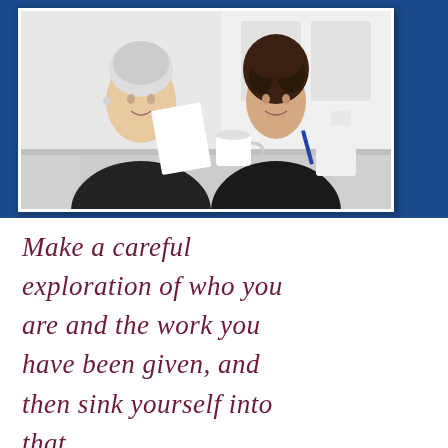[Figure (photo): Two professional women sitting at a table, smiling. An older woman with white hair holds papers on the left; a younger woman with dark curly hair holds a pen on the right. Coffee cups and documents are on the table.]
Make a careful exploration of who you are and the work you have been given, and then sink yourself into that